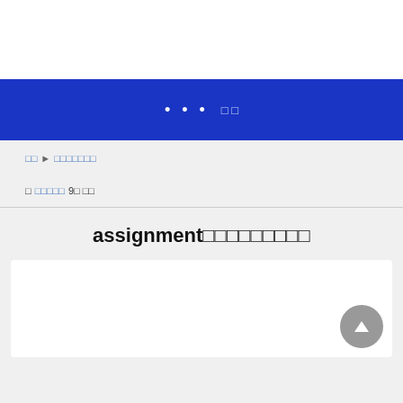• • •  □□
□□ ► □□□□□□□
□ □□□□□ 9□ □□
assignment□□□□□□□□□